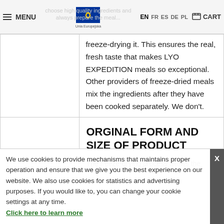MENU | [EU flag - Unia Europejska] | [watermark text: choose high quality ingredients and always prepare the meal...] | EN FR ES DE PL | CART
freeze-drying it. This ensures the real, fresh taste that makes LYO EXPEDITION meals so exceptional. Other providers of freeze-dried meals mix the ingredients after they have been cooked separately. We don't.
ORGINAL FORM AND SIZE OF PRODUCT
The freeze-drying process allows the
We use cookies to provide mechanisms that maintains proper operation and ensure that we give you the best experience on our website. We also use cookies for statistics and advertising purposes. If you would like to, you can change your cookie settings at any time. Click here to learn more